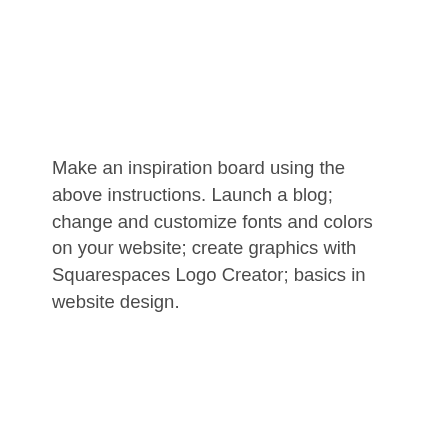Make an inspiration board using the above instructions. Launch a blog; change and customize fonts and colors on your website; create graphics with Squarespaces Logo Creator; basics in website design.